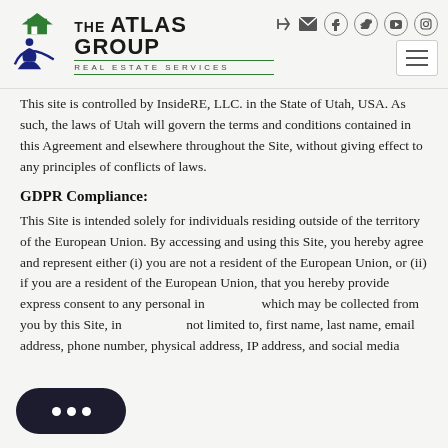The Atlas Group Real Estate Services
This site is controlled by InsideRE, LLC. in the State of Utah, USA. As such, the laws of Utah will govern the terms and conditions contained in this Agreement and elsewhere throughout the Site, without giving effect to any principles of conflicts of laws.
GDPR Compliance:
This Site is intended solely for individuals residing outside of the territory of the European Union. By accessing and using this Site, you hereby agree and represent either (i) you are not a resident of the European Union, or (ii) if you are a resident of the European Union, that you hereby provide express consent to any personal information which may be collected from you by this Site, including but not limited to, first name, last name, email address, phone number, physical address, IP address, and social media